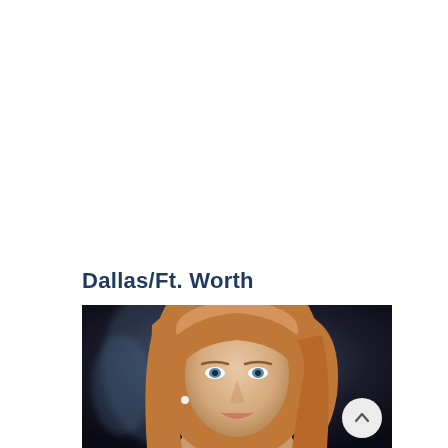Dallas/Ft. Worth
[Figure (photo): Professional headshot of a woman with long blonde/auburn hair, smiling, against a dark blurred background. A circular scroll-up button is overlaid in the bottom-right corner of the photo.]